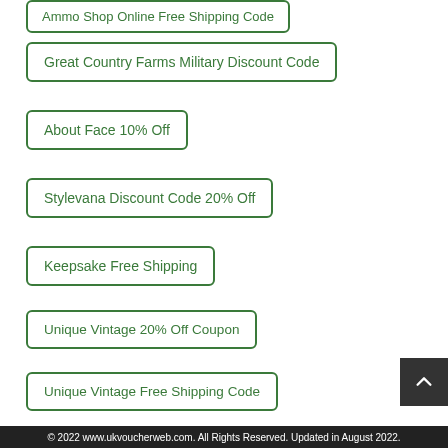Ammo Shop Online Free Shipping Code
Great Country Farms Military Discount Code
About Face 10% Off
Stylevana Discount Code 20% Off
Keepsake Free Shipping
Unique Vintage 20% Off Coupon
Unique Vintage Free Shipping Code
Curve Promo Code £15
Saffron Threads
© 2022 www.ukvoucherweb.com. All Rights Reserved. Updated in August 2022.